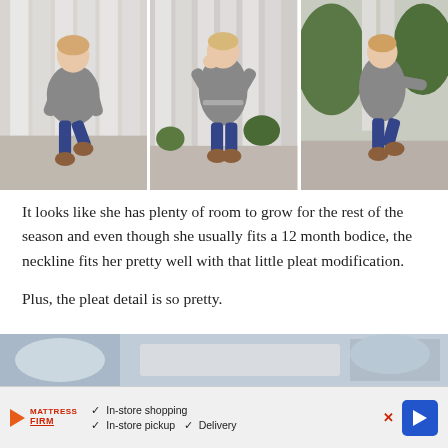[Figure (photo): Three photos of a toddler girl wearing a gray long-sleeve dress with navy leggings and brown boots, posed in front of a white fence — left photo shows her hopping, middle shows her facing camera with hands near face, right shows her from the back/side spinning.]
It looks like she has plenty of room to grow for the rest of the season and even though she usually fits a 12 month bodice, the neckline fits her pretty well with that little pleat modification.
Plus, the pleat detail is so pretty.
[Figure (photo): Partial bottom photo, cropped, showing top portion of another image.]
[Figure (infographic): Advertisement banner for Mattress Firm: logo with play button icon, checkmarks listing In-store shopping, In-store pickup, Delivery, and a blue arrow button.]